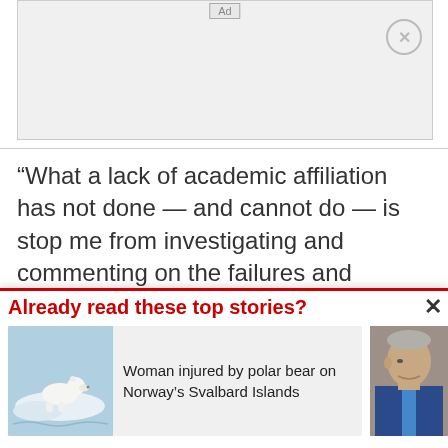[Figure (other): Advertisement placeholder box with 'Ad' label and close button]
“What a lack of academic affiliation has not done — and cannot do — is stop me from investigating and commenting on the failures and inconsistencies of science that I see in
Already read these top stories?
[Figure (photo): Polar bear on ice in water]
Woman injured by polar bear on Norway’s Svalbard Islands
[Figure (photo): Partial photo of a man in a suit]